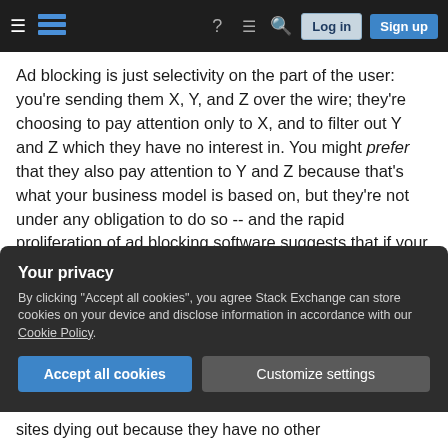Stack Exchange navigation bar with hamburger menu, logo, help, chat, search, Log in, Sign up
Ad blocking is just selectivity on the part of the user: you're sending them X, Y, and Z over the wire; they're choosing to pay attention only to X, and to filter out Y and Z which they have no interest in. You might prefer that they also pay attention to Y and Z because that's what your business model is based on, but they're not under any obligation to do so -- and the rapid proliferation of ad blocking software suggests that if your business model depends on that, it might be time to start thinking seriously about finding a new one.
Your privacy
By clicking "Accept all cookies", you agree Stack Exchange can store cookies on your device and disclose information in accordance with our Cookie Policy.
Accept all cookies   Customize settings
sites dying out because they have no other